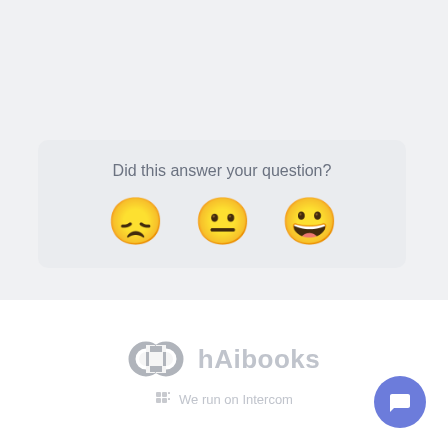[Figure (infographic): Feedback widget with the question 'Did this answer your question?' and three emoji reaction buttons: sad face, neutral face, and happy face]
[Figure (logo): hAibooks logo with chain-link icon in gray, brand name in light gray text]
We run on Intercom